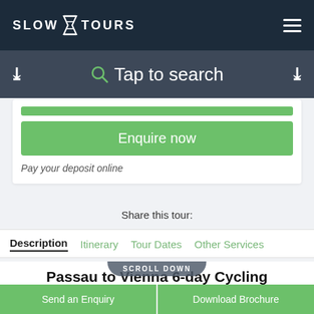SLOW TOURS
Tap to search
Enquire now
Pay your deposit online
Share this tour:
Description  Itinerary  Tour Dates  Other Services
Passau to Vienna 6-day Cycling
SCROLL DOWN
Send an Enquiry
Download Brochure